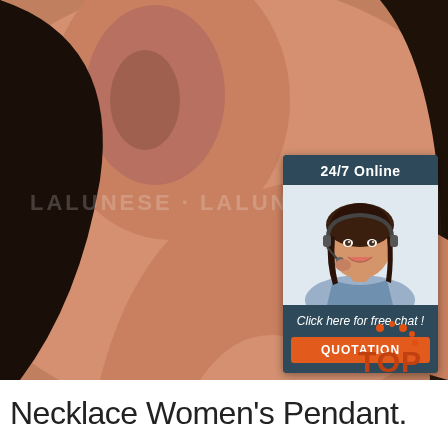[Figure (photo): Close-up photo of a woman's ear with a diamond/crystal halo stud earring, with a watermark reading LALUNESE or similar, skin and dark hair visible]
[Figure (infographic): Chat widget overlay with '24/7 Online' header, photo of a customer service woman with headset, text 'Click here for free chat !', and orange 'QUOTATION' button]
[Figure (logo): TOP badge icon in orange/red with dots above in bottom right corner]
Necklace Women's Pendant.